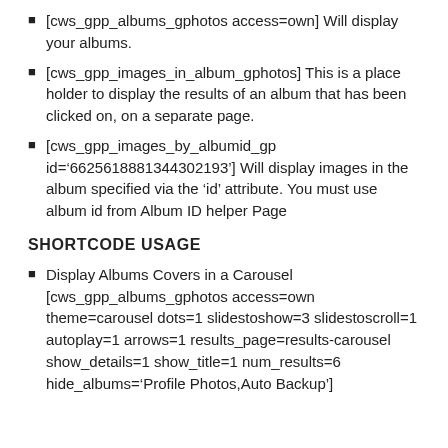[cws_gpp_albums_gphotos access=own] Will display your albums.
[cws_gpp_images_in_album_gphotos] This is a place holder to display the results of an album that has been clicked on, on a separate page.
[cws_gpp_images_by_albumid_gp id='6625618881344302193'] Will display images in the album specified via the 'id' attribute. You must use album id from Album ID helper Page
SHORTCODE USAGE
Display Albums Covers in a Carousel [cws_gpp_albums_gphotos access=own theme=carousel dots=1 slidestoshow=3 slidestoscroll=1 autoplay=1 arrows=1 results_page=results-carousel show_details=1 show_title=1 num_results=6 hide_albums='Profile Photos,Auto Backup']